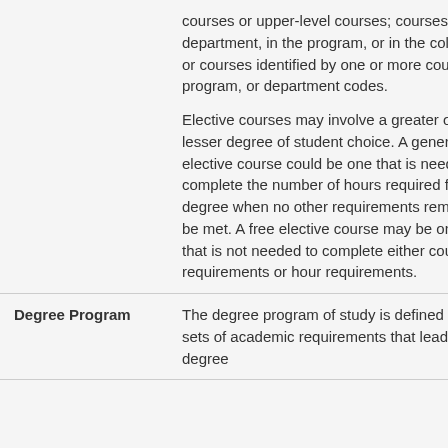| Term | Definition |
| --- | --- |
|  | courses or upper-level courses; courses in the department, in the program, or in the college; or courses identified by one or more course, program, or department codes.

Elective courses may involve a greater or lesser degree of student choice. A general elective course could be one that is needed to complete the number of hours required for the degree when no other requirements remain to be met. A free elective course may be one that is not needed to complete either course requirements or hour requirements. |
| Degree Program | The degree program of study is defined by sets of academic requirements that lead to a degree |